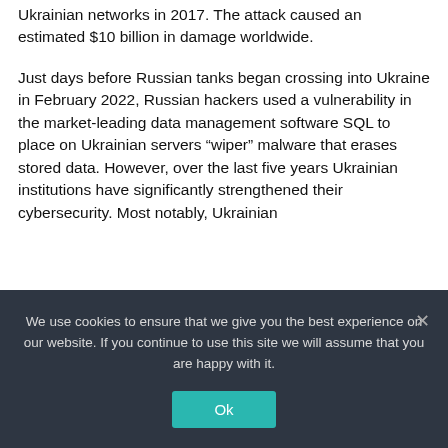Ukrainian networks in 2017. The attack caused an estimated $10 billion in damage worldwide.
Just days before Russian tanks began crossing into Ukraine in February 2022, Russian hackers used a vulnerability in the market-leading data management software SQL to place on Ukrainian servers “wiper” malware that erases stored data. However, over the last five years Ukrainian institutions have significantly strengthened their cybersecurity. Most notably, Ukrainian
We use cookies to ensure that we give you the best experience on our website. If you continue to use this site we will assume that you are happy with it.